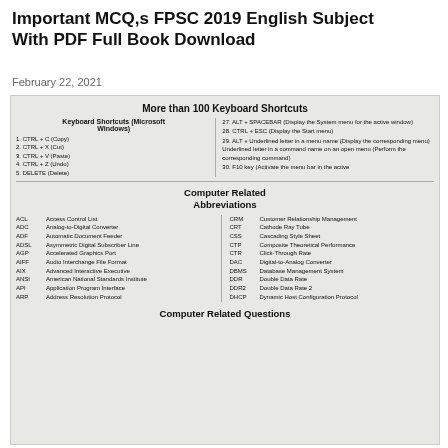Important MCQ,s FPSC 2019 English Subject With PDF Full Book Download
February 22, 2021
[Figure (other): Scanned image of a document showing keyboard shortcuts and computer abbreviations table]
More than 100 Keyboard Shortcuts
| Keyboard Shortcuts (Microsoft Windows) |  |
| --- | --- |
| 1. CTRL + C (Copy) | 27. ALT + SPACEBAR (Display the System menu for the active window) |
| 2. CTRL + X (Cut) | 28. CTRL + ESC (Display the Start menu) |
| 3. CTRL + V (Paste) | 29. ALT + Underlined letter in a menu name (Display the corresponding menu) Underlined letter in a command name on an open menu (Perform the corresponding command) |
| 4. CTRL + Z (Undo) | 30. F10 key (Activate the menu bar in the active |
| 5. DELETE (Delete) |  |
Computer Related Abbreviations
| Code | Definition | Code | Definition |
| --- | --- | --- | --- |
| ACL | Access Control List | CRM | Customer Relationship Management |
| ADC | Analog-to-Digital Converter | CRT | Cathode Ray Tube |
| ADF | Automatic Document Feeder | CSS | Cascading Style Sheet |
| ADSL | Asymmetric Digital Subscriber Line | CTP | Composite Theoretical Performance |
| AGP | Accelerated Graphics Port | CTR | Click-Through Rate |
| AIFF | Audio Interchange File Format | DAC | Digital-to-Analog Converter |
| AIX | Advanced Interactive Executive | DBMS | Database Management System |
| ANSI | American National Standards Institute | DDR | Double Data Rate |
| API | Application Program Interface | DDR2 | Double Data Rate 2 |
| ARP | Address Resolution Protocol | DHCP | Dynamic Host Configuration Protocol |
Computer Related Questions